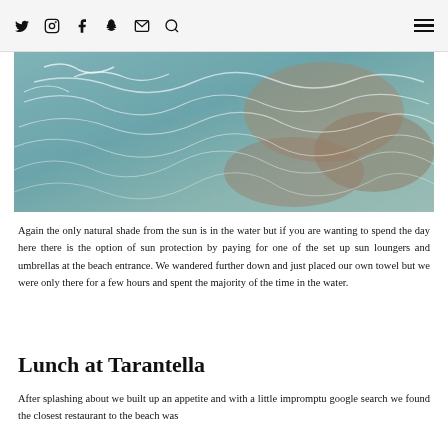[social icons: Twitter, Instagram, Facebook, Snapchat, Email, Search] [hamburger menu]
[Figure (photo): Aerial/overhead view of shallow turquoise water with light reflections and sandy/rocky bottom showing ripple patterns]
Again the only natural shade from the sun is in the water but if you are wanting to spend the day here there is the option of sun protection by paying for one of the set up sun loungers and umbrellas at the beach entrance. We wandered further down and just placed our own towel but we were only there for a few hours and spent the majority of the time in the water.
Lunch at Tarantella
After splashing about we built up an appetite and with a little impromptu google search we found the closest restaurant to the beach was